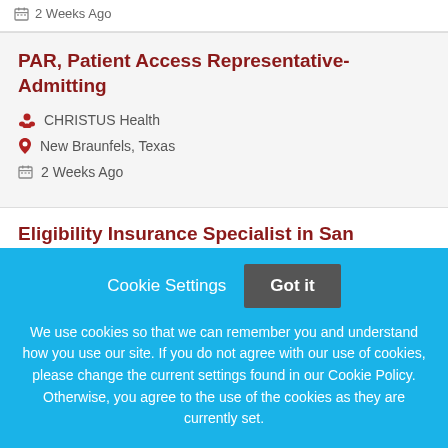2 Weeks Ago
PAR, Patient Access Representative-Admitting
CHRISTUS Health
New Braunfels, Texas
2 Weeks Ago
Eligibility Insurance Specialist in San Antonio, TX: $1,000 Sign-On Bonus f...
Cookie Settings  Got it
We use cookies so that we can remember you and understand how you use our site. If you do not agree with our use of cookies, please change the current settings found in our Cookie Policy. Otherwise, you agree to the use of the cookies as they are currently set.